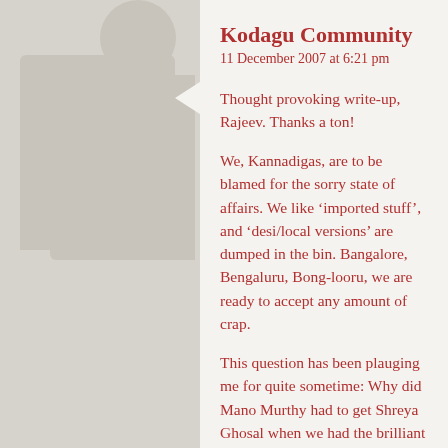Kodagu Community
11 December 2007 at 6:21 pm
Thought provoking write-up, Rajeev. Thanks a ton!
We, Kannadigas, are to be blamed for the sorry state of affairs. We like ‘imported stuff’, and ‘desi/local versions’ are dumped in the bin. Bangalore, Bengaluru, Bong-looru, we are ready to accept any amount of crap.
This question has been plauging me for quite sometime: Why did Mano Murthy had to get Shreya Ghosal when we had the brilliant MD Pallavi in the backyard? Aruluthiru... would